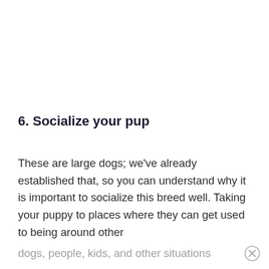6. Socialize your pup
These are large dogs; we’ve already established that, so you can understand why it is important to socialize this breed well. Taking your puppy to places where they can get used to being around other
dogs, people, kids, and other situations